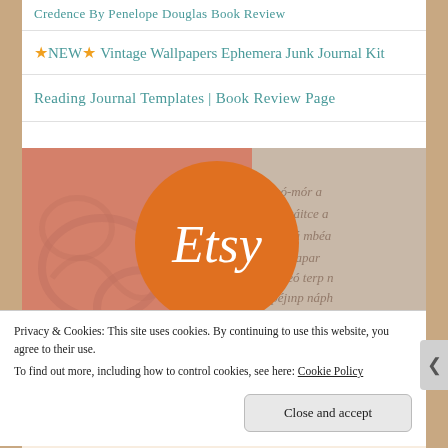Credence By Penelope Douglas Book Review
⭐NEW⭐ Vintage Wallpapers Ephemera Junk Journal Kit
Reading Journal Templates | Book Review Page
[Figure (logo): Etsy logo — orange circle with white 'Etsy' text, overlaid on a decorative background with pink/salmon swirls on the left and faded old manuscript text on the right]
Privacy & Cookies: This site uses cookies. By continuing to use this website, you agree to their use.
To find out more, including how to control cookies, see here: Cookie Policy
Close and accept